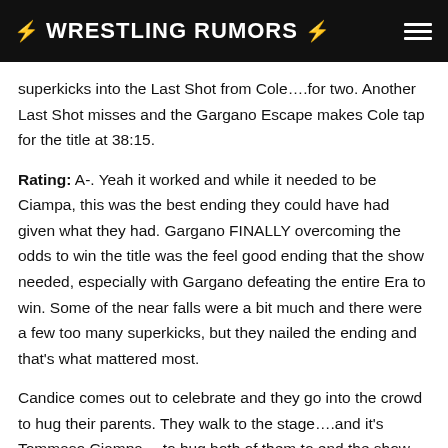⚡ WRESTLING RUMORS ⚡
superkicks into the Last Shot from Cole….for two. Another Last Shot misses and the Gargano Escape makes Cole tap for the title at 38:15.
Rating: A-. Yeah it worked and while it needed to be Ciampa, this was the best ending they could have had given what they had. Gargano FINALLY overcoming the odds to win the title was the feel good ending that the show needed, especially with Gargano defeating the entire Era to win. Some of the near falls were a bit much and there were a few too many superkicks, but they nailed the ending and that's what mattered most.
Candice comes out to celebrate and they go into the crowd to hug their parents. They walk to the stage….and it's Tommaso Ciampa….to hug both of them to end the show.